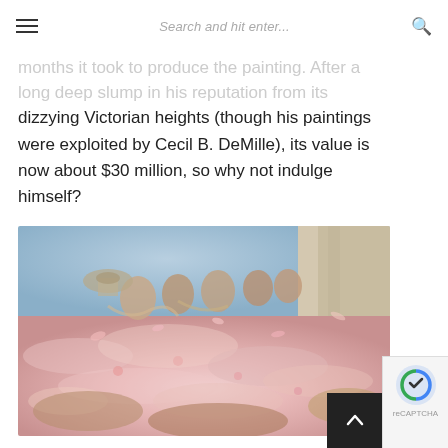Search and hit enter...
months it took to produce the painting. After a long deep slump in his reputation from its dizzying Victorian heights (though his paintings were exploited by Cecil B. DeMille), its value is now about $30 million, so why not indulge himself?
[Figure (photo): A painting showing figures in a Roman feast scene covered in pink rose petals, with people lounging and reclining among abundant flowers.]
For our convenience and safety, the Arc de Triomphe switched off its lift but, due to our practise ascending Hôtel Esmeralda, we scaled